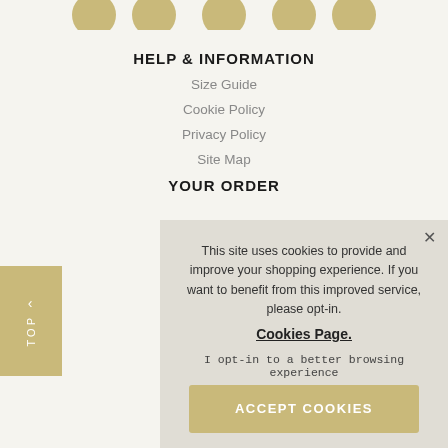[Figure (illustration): Five circular gold social media icon buttons in a row, partially cropped at top]
HELP & INFORMATION
Size Guide
Cookie Policy
Privacy Policy
Site Map
YOUR ORDER
This site uses cookies to provide and improve your shopping experience. If you want to benefit from this improved service, please opt-in. Cookies Page.
I opt-in to a better browsing experience
ACCEPT COOKIES
Our Stores